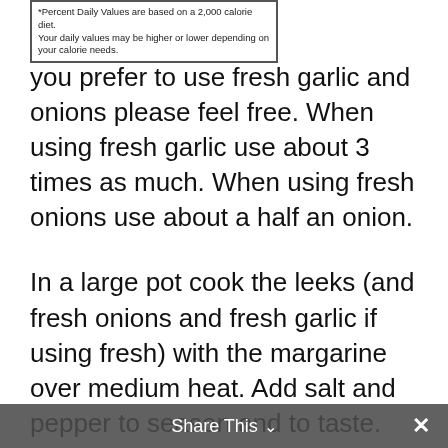[Figure (other): Partial nutrition facts label showing footnote: '*Percent Daily Values are based on a 2,000 calorie diet. Your daily values may be higher or lower depending on your calorie needs.']
you prefer to use fresh garlic and onions please feel free. When using fresh garlic use about 3 times as much. When using fresh onions use about a half an onion.
In a large pot cook the leeks (and fresh onions and fresh garlic if using fresh) with the margarine over medium heat. Add salt and pepper to season and to taste.
If using bouillon cubes set them aside for later. Take the 1 litre (1 quart) of water you'll use for the stock and stir in the cornstarch until
Share This ∨  ✕